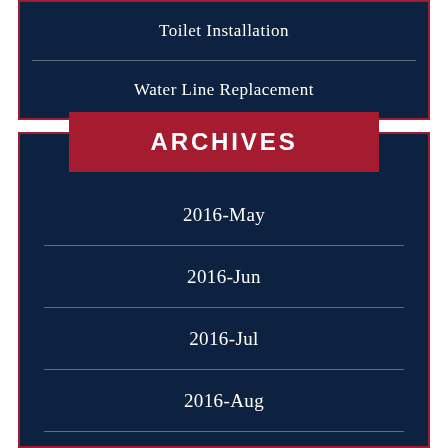Toilet Installation
Water Line Replacement
ARCHIVES
2016-May
2016-Jun
2016-Jul
2016-Aug
2016-Sep